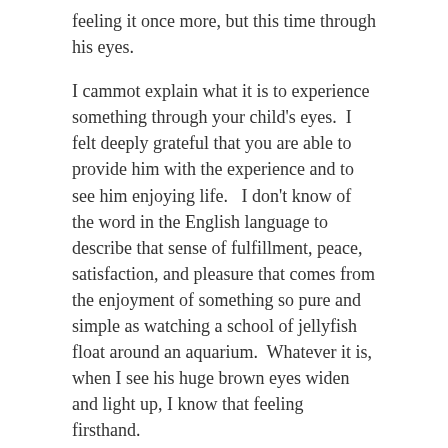feeling it once more, but this time through his eyes.
I cammot explain what it is to experience something through your child's eyes.  I felt deeply grateful that you are able to provide him with the experience and to see him enjoying life.   I don't know of the word in the English language to describe that sense of fulfillment, peace, satisfaction, and pleasure that comes from the enjoyment of something so pure and simple as watching a school of jellyfish float around an aquarium.  Whatever it is, when I see his huge brown eyes widen and light up, I know that feeling firsthand.
Share this:
Save  Post  Pocket  0  Tweet  Email  More